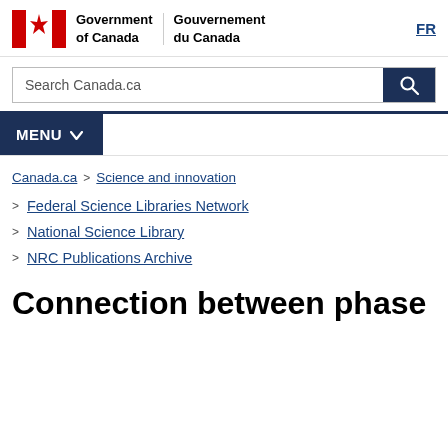Government of Canada / Gouvernement du Canada | FR
Search Canada.ca
MENU
Canada.ca > Science and innovation > Federal Science Libraries Network > National Science Library > NRC Publications Archive
Connection between phase